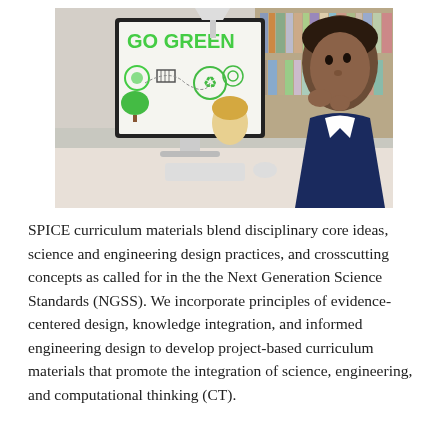[Figure (photo): A child sitting at a desk looking at a computer monitor displaying a 'Go Green' themed infographic with environmental icons and green text. Bookshelves are visible in the background along with another student.]
SPICE curriculum materials blend disciplinary core ideas, science and engineering design practices, and crosscutting concepts as called for in the the Next Generation Science Standards (NGSS). We incorporate principles of evidence-centered design, knowledge integration, and informed engineering design to develop project-based curriculum materials that promote the integration of science, engineering, and computational thinking (CT).